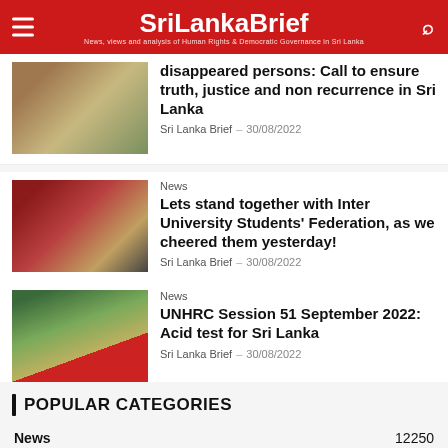SriLankaBrief – News, views and analysis of Human Rights & Democratic Governance in Sri Lanka
[Figure (photo): Protest banner with photographs of disappeared persons]
disappeared persons: Call to ensure truth, justice and non recurrence in Sri Lanka
Sri Lanka Brief  –  30/08/2022
[Figure (photo): Red protest banner reading FREE ALL THE POLITICAL PRISONERS IN SRI LANKA]
News
Lets stand together with Inter University Students' Federation, as we cheered them yesterday!
Sri Lanka Brief  –  30/08/2022
[Figure (photo): Outdoor protest with banner reading State Terrorism and Repression]
News
UNHRC Session 51 September 2022: Acid test for Sri Lanka
Sri Lanka Brief  –  30/08/2022
POPULAR CATEGORIES
News  12250